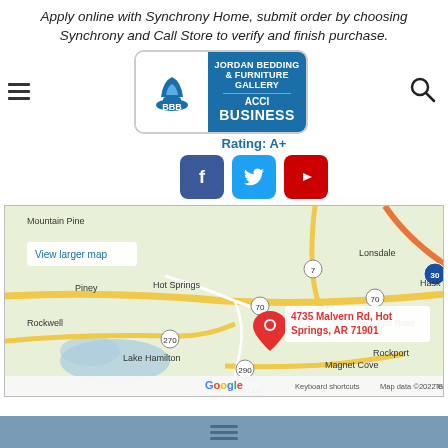Apply online with Synchrony Home, submit order by choosing Synchrony and Call Store to verify and finish purchase.
[Figure (logo): BBB Accredited Business badge with Jordan Bedding & Furniture Gallery logo, hamburger menu icon, and search icon]
Rating: A+
[Figure (infographic): Social media icons: Facebook, Twitter, YouTube]
[Figure (map): Google Map showing Hot Springs, AR area with a pin at 4735 Malvern Rd, Hot Springs, AR 71901. Shows surrounding areas including Mountain Pine, Lonsdale, Piney, Rockwell, Lake Hamilton, Magnet Cove, Glen Rose, Rockport, Hask. Map data ©2022 Google]